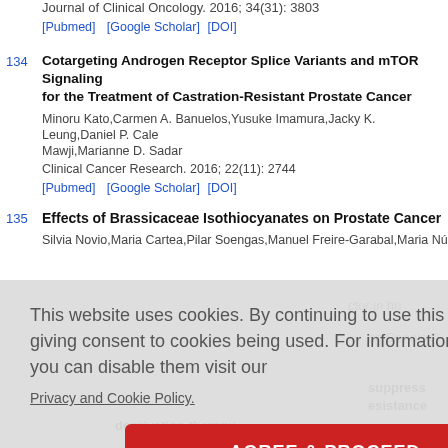Journal of Clinical Oncology. 2016; 34(31): 3803
[Pubmed]  [Google Scholar] [DOI]
134 Cotargeting Androgen Receptor Splice Variants and mTOR Signaling for the Treatment of Castration-Resistant Prostate Cancer. Minoru Kato,Carmen A. Banuelos,Yusuke Imamura,Jacky K. Leung,Daniel P. Cale Mawji,Marianne D. Sadar. Clinical Cancer Research. 2016; 22(11): 2744. [Pubmed] [Google Scholar] [DOI]
135 Effects of Brassicaceae Isothiocyanates on Prostate Cancer. Silvia Novio,Maria Cartea,Pilar Soengas,Manuel Freire-Garabal,Maria Núñez-Iglesias...
This website uses cookies. By continuing to use this website you are giving consent to cookies being used. For information on cookies and how you can disable them visit our Privacy and Cookie Policy.
AGREE & PROCEED